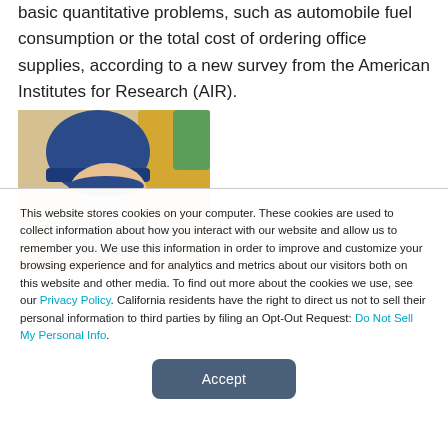basic quantitative problems, such as automobile fuel consumption or the total cost of ordering office supplies, according to a new survey from the American Institutes for Research (AIR).
[Figure (photo): Child wearing a blue beanie hat, leaning over a desk appearing to be studying or writing, with colorful chairs visible in background]
This website stores cookies on your computer. These cookies are used to collect information about how you interact with our website and allow us to remember you. We use this information in order to improve and customize your browsing experience and for analytics and metrics about our visitors both on this website and other media. To find out more about the cookies we use, see our Privacy Policy. California residents have the right to direct us not to sell their personal information to third parties by filing an Opt-Out Request: Do Not Sell My Personal Info.
Accept